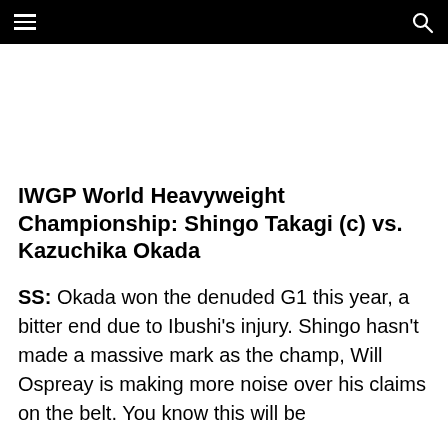≡   🔍
IWGP World Heavyweight Championship: Shingo Takagi (c) vs. Kazuchika Okada
SS: Okada won the denuded G1 this year, a bitter end due to Ibushi's injury. Shingo hasn't made a massive mark as the champ, Will Ospreay is making more noise over his claims on the belt. You know this will be